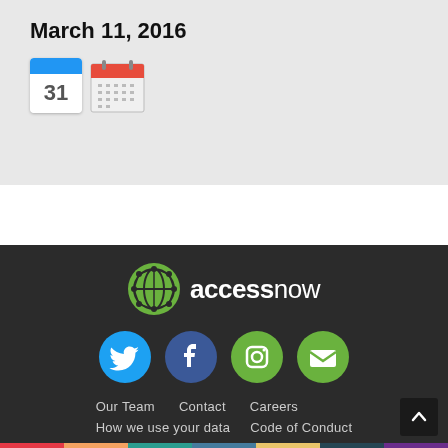March 11, 2016
[Figure (illustration): Two calendar icons side by side: a Google Calendar icon showing '31' and a generic calendar/planner icon]
[Figure (logo): Access Now logo: green globe icon with network lines and 'accessnow' text in white]
[Figure (illustration): Four social media icons: Twitter (blue circle), Facebook (dark blue circle), Instagram (green circle), Email/newsletter (green circle)]
Our Team   Contact   Careers   How we use your data   Code of Conduct